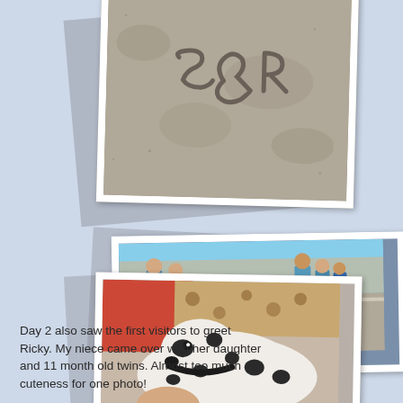[Figure (photo): Close-up photo of text written in sand, appearing to show '5&R' or similar letters traced in sandy ground]
[Figure (photo): Photo of a group of women outdoors, showing visitors including a niece with her daughter and 11-month-old twins]
Day 2 also saw the first visitors to greet Ricky. My niece came over with her daughter and 11 month old twins. Almost too much cuteness for one photo!
[Figure (photo): Close-up photo of a Dalmatian puppy with black spots on white fur, being held by a person wearing a red garment]